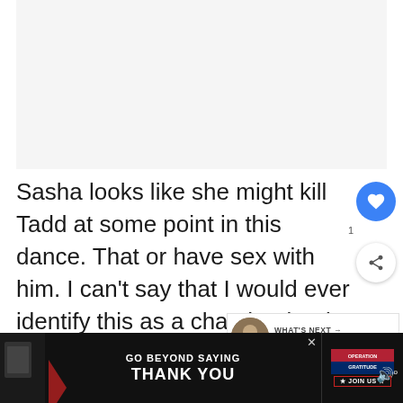[Figure (photo): Light gray placeholder image area at top of page]
Sasha looks like she might kill Tadd at some point in this dance. That or have sex with him. I can't say that I would ever identify this as a cha-cha, but it's pretty darn cool. If there's a flaw, it's that Sasha is out-dancing Tadd, both be...ch...r Tadd
[Figure (screenshot): Social media UI elements: heart/like button (blue circle), share button (white circle with share icon), What's Next panel showing Top 10 Richest Actors in th... with a bearded man avatar]
[Figure (screenshot): GO BEYOND SAYING THANK YOU / OPERATION GRATITUDE / JOIN US advertisement banner at bottom of page]